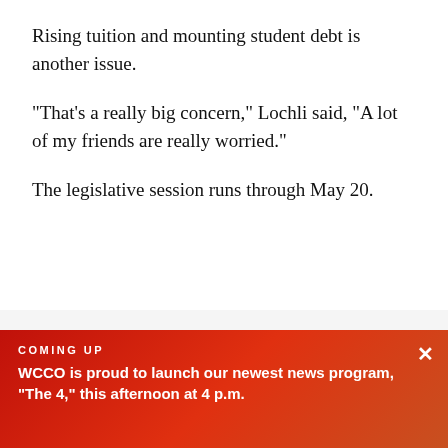Rising tuition and mounting student debt is another issue.
"That's a really big concern," Lochli said, "A lot of my friends are really worried."
The legislative session runs through May 20.
First published on January 8, 2019 / 5:15 PM
© 2019 CBS Broadcasting Inc. All Rights Reserved.
COMING UP
WCCO is proud to launch our newest news program, "The 4," this afternoon at 4 p.m.